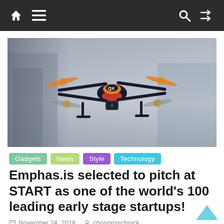Navigation bar with home, menu, search, and shuffle icons
[Figure (photo): A quadcopter drone labeled QX with orange propellers flying against a blurred gray background]
Gadgets  News  Style  Technology
Emphas.is selected to pitch at START as one of the world's 100 leading early stage startups!
November 24, 2018   chongmischnick